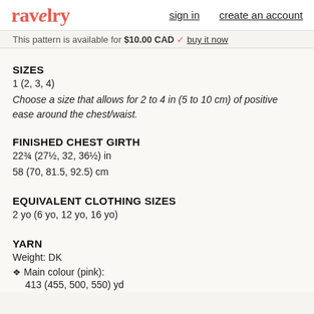ravelry  sign in  create an account
This pattern is available for $10.00 CAD  buy it now
SIZES
1 (2, 3, 4)
Choose a size that allows for 2 to 4 in (5 to 10 cm) of positive ease around the chest/waist.
FINISHED CHEST GIRTH
22¾ (27½, 32, 36½) in
58 (70, 81.5, 92.5) cm
EQUIVALENT CLOTHING SIZES
2 yo (6 yo, 12 yo, 16 yo)
YARN
Weight: DK
❖ Main colour (pink):
413 (455, 500, 550) yd